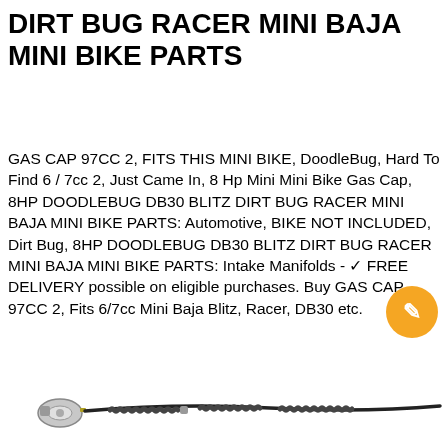DIRT BUG RACER MINI BAJA MINI BIKE PARTS
GAS CAP 97CC 2, FITS THIS MINI BIKE, DoodleBug, Hard To Find 6 / 7cc 2, Just Came In, 8 Hp Mini Mini Bike Gas Cap, 8HP DOODLEBUG DB30 BLITZ DIRT BUG RACER MINI BAJA MINI BIKE PARTS: Automotive, BIKE NOT INCLUDED, Dirt Bug, 8HP DOODLEBUG DB30 BLITZ DIRT BUG RACER MINI BAJA MINI BIKE PARTS: Intake Manifolds - ✓ FREE DELIVERY possible on eligible purchases. Buy GAS CAP 97CC 2, Fits 6/7cc Mini Baja Blitz, Racer, DB30 etc.
[Figure (photo): Partial view of a mini bike cable/brake component against a white background]